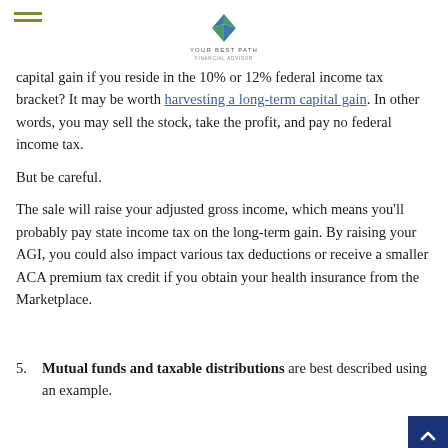Your Best Path logo and navigation
capital gain if you reside in the 10% or 12% federal income tax bracket? It may be worth harvesting a long-term capital gain. In other words, you may sell the stock, take the profit, and pay no federal income tax.
But be careful.
The sale will raise your adjusted gross income, which means you'll probably pay state income tax on the long-term gain. By raising your AGI, you could also impact various tax deductions or receive a smaller ACA premium tax credit if you obtain your health insurance from the Marketplace.
5. Mutual funds and taxable distributions are best described using an example.